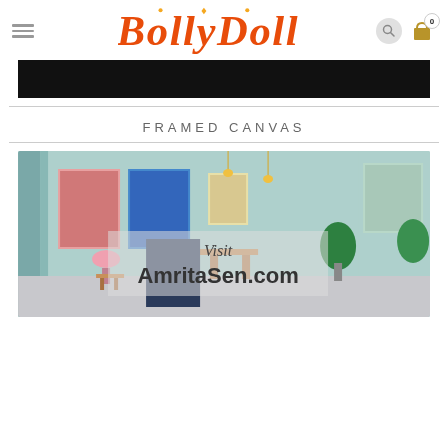BollyDoll
[Figure (photo): Black banner image across the page]
FRAMED CANVAS
[Figure (photo): Room scene showing framed canvas art prints on walls with text overlay 'Visit AmritaSen.com']